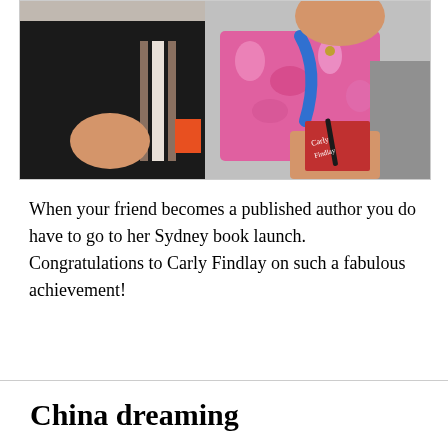[Figure (photo): Two women posing together. One on the left wears a black dress with tan/white stripes and holds an orange card. The one on the right wears a pink floral top and grey cardigan, holding a red book being signed with a pen.]
When your friend becomes a published author you do have to go to her Sydney book launch. Congratulations to Carly Findlay on such a fabulous achievement!
China dreaming